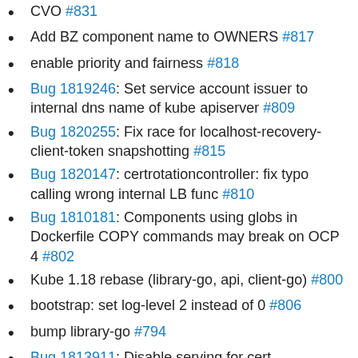CVO #831
Add BZ component name to OWNERS #817
enable priority and fairness #818
Bug 1819246: Set service account issuer to internal dns name of kube apiserver #809
Bug 1820255: Fix race for localhost-recovery-client-token snapshotting #815
Bug 1820147: certrotationcontroller: fix typo calling wrong internal LB func #810
Bug 1810181: Components using globs in Dockerfile COPY commands may break on OCP 4 #802
Kube 1.18 rebase (library-go, api, client-go) #800
bootstrap: set log-level 2 instead of 0 #806
bump library-go #794
Bug 1813911: Disable serving for cert regeneration controller to avoid wrong dependency #797
Bug 1812583: Normalize CPU requests on masters #793
Controller factory controllers and graceful termination